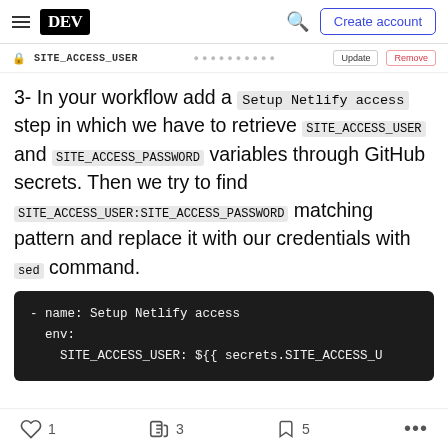DEV — Create account
[Figure (screenshot): Secret row showing SITE_ACCESS_USER variable with Update and Remove buttons]
3- In your workflow add a Setup Netlify access step in which we have to retrieve SITE_ACCESS_USER and SITE_ACCESS_PASSWORD variables through GitHub secrets. Then we try to find SITE_ACCESS_USER:SITE_ACCESS_PASSWORD matching pattern and replace it with our credentials with sed command.
1  3  5  ...